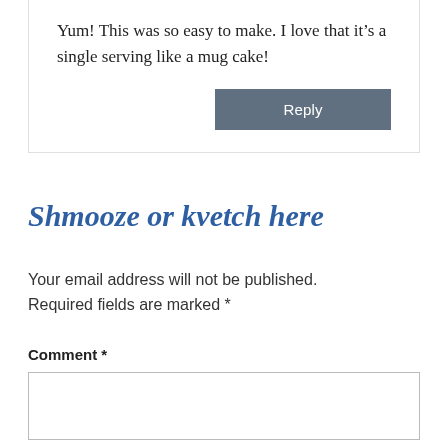Yum! This was so easy to make. I love that it's a single serving like a mug cake!
Reply
Shmooze or kvetch here
Your email address will not be published. Required fields are marked *
Comment *